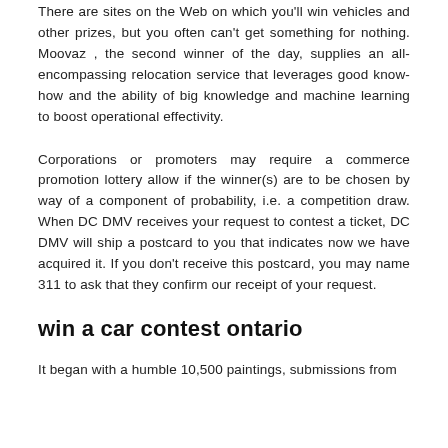There are sites on the Web on which you'll win vehicles and other prizes, but you often can't get something for nothing. Moovaz , the second winner of the day, supplies an all-encompassing relocation service that leverages good know-how and the ability of big knowledge and machine learning to boost operational effectivity.
Corporations or promoters may require a commerce promotion lottery allow if the winner(s) are to be chosen by way of a component of probability, i.e. a competition draw. When DC DMV receives your request to contest a ticket, DC DMV will ship a postcard to you that indicates now we have acquired it. If you don't receive this postcard, you may name 311 to ask that they confirm our receipt of your request.
win a car contest ontario
It began with a humble 10,500 paintings, submissions from